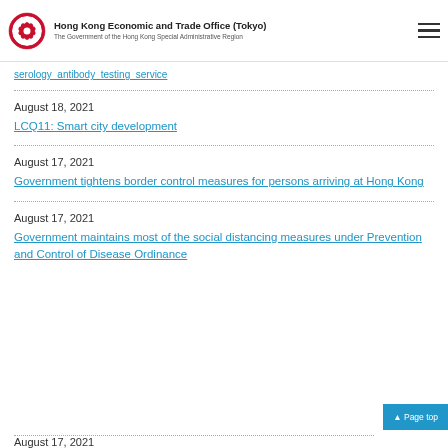Hong Kong Economic and Trade Office (Tokyo)
The Government of the Hong Kong Special Administrative Region
serology_antibody_testing_service
August 18, 2021
LCQ11: Smart city development
August 17, 2021
Government tightens border control measures for persons arriving at Hong Kong
August 17, 2021
Government maintains most of the social distancing measures under Prevention and Control of Disease Ordinance
August 17, 2021